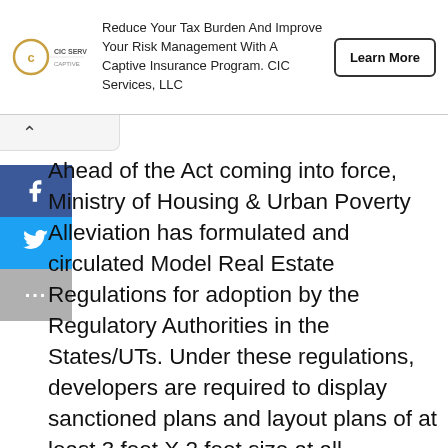[Figure (other): CIC Services advertisement banner with logo, text about reducing tax burden and improving risk management with a captive insurance program, and a Learn More button]
Ahead of the Act coming into force, Ministry of Housing & Urban Poverty Alleviation has formulated and circulated Model Real Estate Regulations for adoption by the Regulatory Authorities in the States/UTs. Under these regulations, developers are required to display sanctioned plans and layout plans of at least 3 feet X 2 feet size at all marketing offices, other offices where properties are sold, all branch offices and head office of the promoters in addition to the site of the project. Real Estate Regulatory Authorities may take decisions on all issues preferably